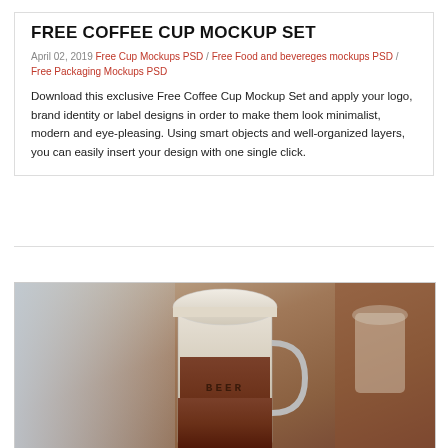FREE COFFEE CUP MOCKUP SET
April 02, 2019 Free Cup Mockups PSD / Free Food and bevereges mockups PSD / Free Packaging Mockups PSD
Download this exclusive Free Coffee Cup Mockup Set and apply your logo, brand identity or label designs in order to make them look minimalist, modern and eye-pleasing. Using smart objects and well-organized layers, you can easily insert your design with one single click.
> Read More
[Figure (photo): Photo of a glass coffee cup/mug with dark coffee liquid and cream-colored lid/foam on top, set against a blurred warm-toned background.]